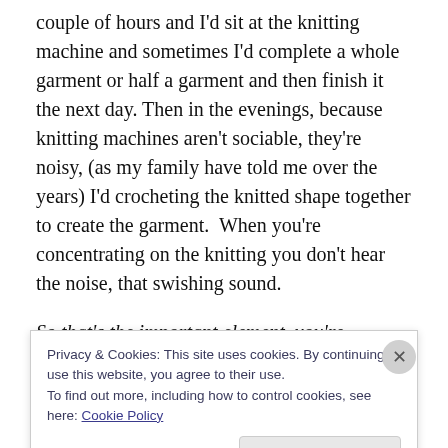couple of hours and I'd sit at the knitting machine and sometimes I'd complete a whole garment or half a garment and then finish it the next day. Then in the evenings, because knitting machines aren't sociable, they're noisy, (as my family have told me over the years) I'd crocheting the knitted shape together to create the garment.  When you're concentrating on the knitting you don't hear the noise, that swishing sound.
So that's the important element, you're creating the fabric
Privacy & Cookies: This site uses cookies. By continuing to use this website, you agree to their use.
To find out more, including how to control cookies, see here: Cookie Policy